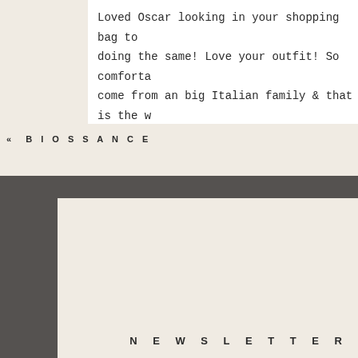Loved Oscar looking in your shopping bag to doing the same! Love your outfit! So comfortable come from an big Italian family & that is the w
« BIOSSANCE
NEWSLETTER